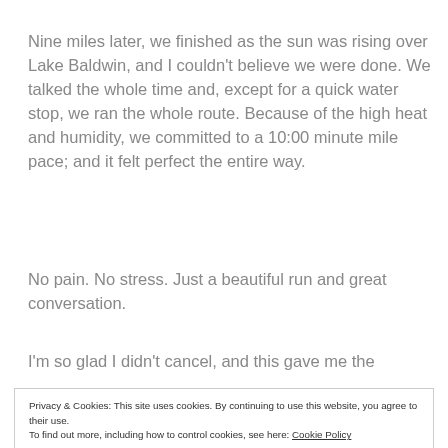Nine miles later, we finished as the sun was rising over Lake Baldwin, and I couldn't believe we were done. We talked the whole time and, except for a quick water stop, we ran the whole route. Because of the high heat and humidity, we committed to a 10:00 minute mile pace; and it felt perfect the entire way.
No pain. No stress. Just a beautiful run and great conversation.
I'm so glad I didn't cancel, and this gave me the
Privacy & Cookies: This site uses cookies. By continuing to use this website, you agree to their use.
To find out more, including how to control cookies, see here: Cookie Policy
Close and accept
I can do this. We can do this.